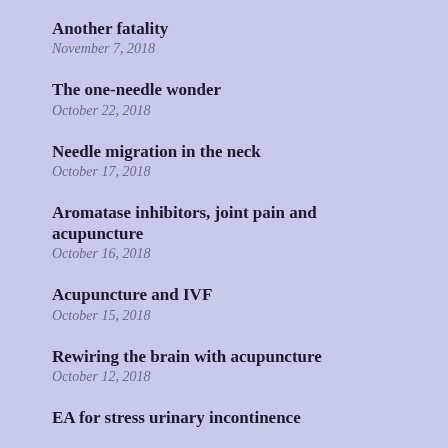Another fatality
November 7, 2018
The one-needle wonder
October 22, 2018
Needle migration in the neck
October 17, 2018
Aromatase inhibitors, joint pain and acupuncture
October 16, 2018
Acupuncture and IVF
October 15, 2018
Rewiring the brain with acupuncture
October 12, 2018
EA for stress urinary incontinence